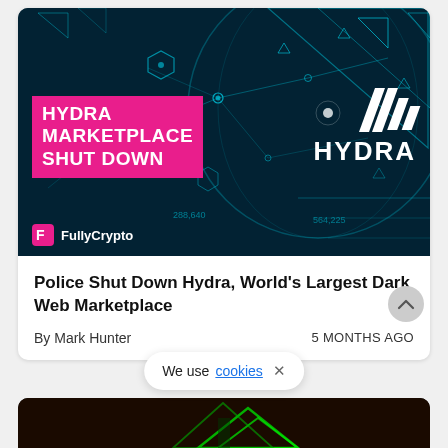[Figure (screenshot): Hydra Marketplace Shut Down hero image with dark teal network/tech background, pink text box saying HYDRA MARKETPLACE SHUT DOWN, Hydra brand logo with slash marks, and FullyCrypto logo in bottom left]
Police Shut Down Hydra, World's Largest Dark Web Marketplace
By Mark Hunter
5 MONTHS AGO
We use cookies ×
[Figure (photo): Partial view of second article thumbnail with red/dark background and green geometric shapes]